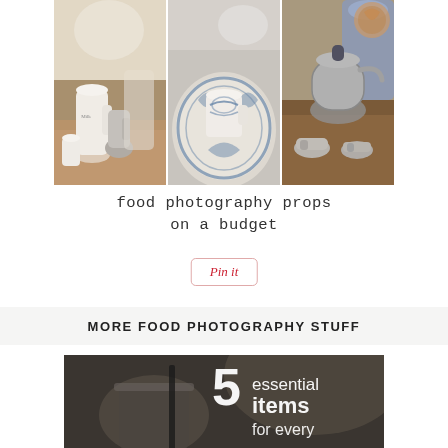[Figure (photo): Three-panel photo collage of food photography props: left panel shows white milk jug and creamer with silver items on wooden table, center panel shows blue and white decorated plate and cup, right panel shows silver teapot and small bowls on wooden surface.]
food photography props
on a budget
[Figure (other): Pinterest 'Pin it' button with red italic text and rounded border]
MORE FOOD PHOTOGRAPHY STUFF
[Figure (infographic): Black and white photo of mason jar with straw, overlaid with large white text reading '5 essential items for every' — partial view, rest cut off.]